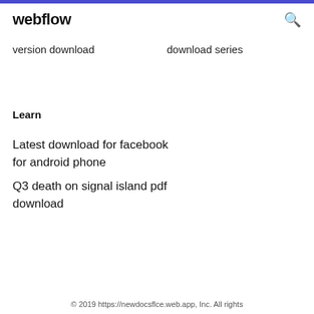webflow
version download    download series
Learn
Latest download for facebook for android phone
Q3 death on signal island pdf download
© 2019 https://newdocsflce.web.app, Inc. All rights